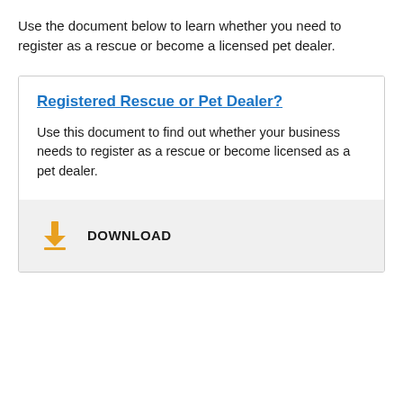Use the document below to learn whether you need to register as a rescue or become a licensed pet dealer.
Registered Rescue or Pet Dealer?
Use this document to find out whether your business needs to register as a rescue or become licensed as a pet dealer.
DOWNLOAD